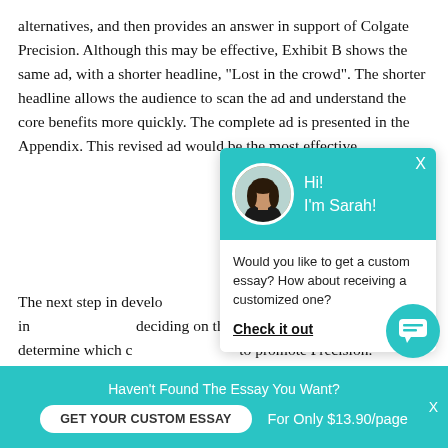alternatives, and then provides an answer in support of Colgate Precision. Although this may be effective, Exhibit B shows the same ad, with a shorter headline, “Lost in the crowd”. The shorter headline allows the audience to scan the ad and understand the core benefits more quickly. The complete ad is presented in the Appendix. This revised ad would be the most effective.
[Figure (screenshot): Chat popup overlay with teal header showing a circular avatar photo of a woman (Sarah) and greeting text 'Hi! I'm Sarah!', with X close button. Body contains text 'Would you like to get a custom essay? How about receiving a customized one?' and bold underlined link 'Check it out'.]
The next step in developing the marketing plan is to strategically very important and involves deciding on the marketing mix. Colgate must determine which channels of communication to promote Precision. Colgate’s channels of communication channels, center around people communicating face-to-face, such as inor by word
[Figure (screenshot): Bottom teal banner with text 'Haven't Found The Essay You Want?' and a white pill button 'GET YOUR CUSTOM ESSAY' and text 'For Only $13.90/page' with X close button. Also a teal circular chat icon button in bottom right.]